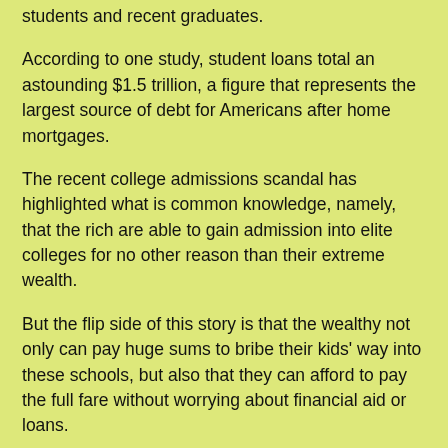students and recent graduates.
According to one study, student loans total an astounding $1.5 trillion, a figure that represents the largest source of debt for Americans after home mortgages.
The recent college admissions scandal has highlighted what is common knowledge, namely, that the rich are able to gain admission into elite colleges for no other reason than their extreme wealth.
But the flip side of this story is that the wealthy not only can pay huge sums to bribe their kids' way into these schools, but also that they can afford to pay the full fare without worrying about financial aid or loans.
However, admission into elite colleges is not even the tip of the iceberg in terms of the issue of paying college expenses. Public college and universities used to be affordable alternatives for lower-income and middle-class students. But given that state and federal funding for higher education has been on a steady,